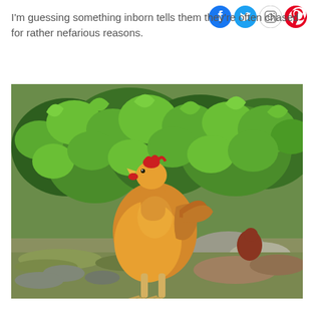[Figure (other): Social media icons: Facebook (blue), Twitter (light blue), Instagram (gradient/outlined), Pinterest (red)]
I'm guessing something inborn tells them they're often chased for rather nefarious reasons.
[Figure (photo): A golden/amber-colored chicken standing upright in a garden, looking upward with its beak slightly open. It stands on mossy stone ground in front of lush green leafy shrubs. Another chicken is partially visible in the background to the right.]